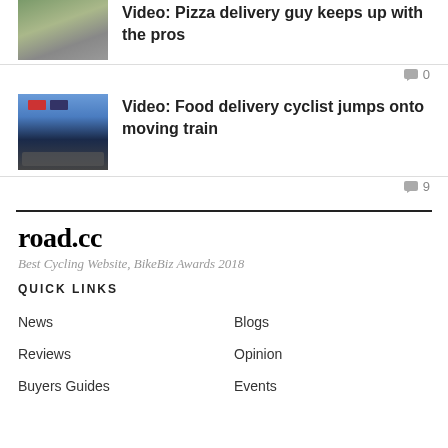Video: Pizza delivery guy keeps up with the pros
0 comments
Video: Food delivery cyclist jumps onto moving train
9 comments
road.cc
Best Cycling Website, BikeBiz Awards 2018
QUICK LINKS
News
Blogs
Reviews
Opinion
Buyers Guides
Events